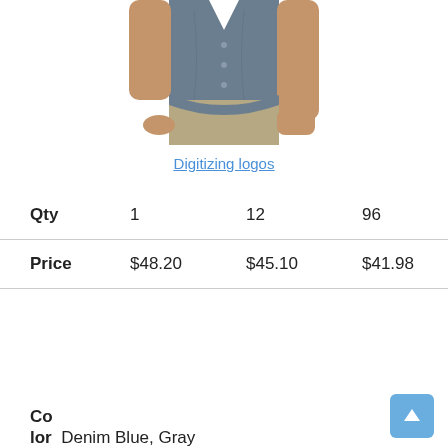[Figure (photo): Partial torso of a man wearing a blue denim short-sleeve button-up shirt with khaki/tan shorts]
Digitizing logos
|  | 1 | 12 | 96 |
| --- | --- | --- | --- |
| Qty | 1 | 12 | 96 |
| Price | $48.20 | $45.10 | $41.98 |
Color
Denim Blue, Gray